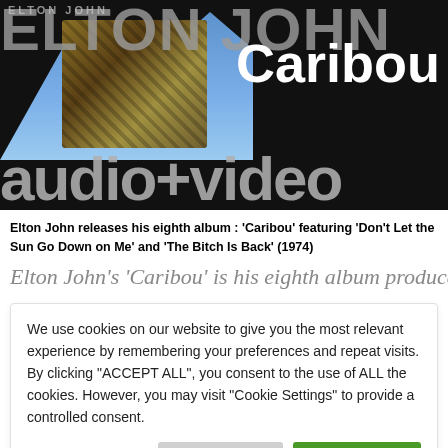[Figure (photo): Elton John Caribou album promotional image with 'audio + video' text overlay on dark background]
Elton John releases his eighth album : 'Caribou' featuring 'Don't Let the Sun Go Down on Me' and 'The Bitch Is Back' (1974)
Elton John's 'Caribou' is his eighth album produced by Gus
We use cookies on our website to give you the most relevant experience by remembering your preferences and repeat visits. By clicking "ACCEPT ALL", you consent to the use of ALL the cookies. However, you may visit "Cookie Settings" to provide a controlled consent.
Cookie Settings | REJECT ALL | ACCEPT ALL